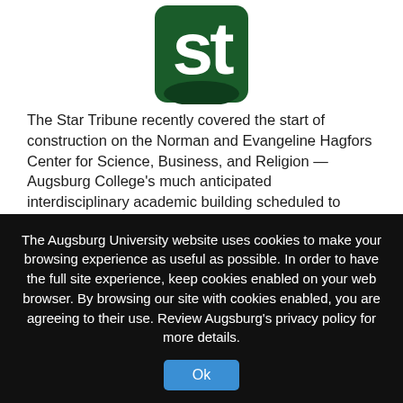[Figure (logo): Star Tribune logo — white 'st' letters on dark green rounded rectangle background]
The Star Tribune recently covered the start of construction on the Norman and Evangeline Hagfors Center for Science, Business, and Religion — Augsburg College's much anticipated interdisciplinary academic building scheduled to open in January 2018. The article notes that the capital campaign for this building project was the most successful in the College's history and so far has generated $54 million, which is eight times more than Augsburg has ever raised.
The story also acknowledges the generosity of the building's lead donors, describing Norm Hagfor's career success and the
The Augsburg University website uses cookies to make your browsing experience as useful as possible. In order to have the full site experience, keep cookies enabled on your web browser. By browsing our site with cookies enabled, you are agreeing to their use. Review Augsburg's privacy policy for more details.